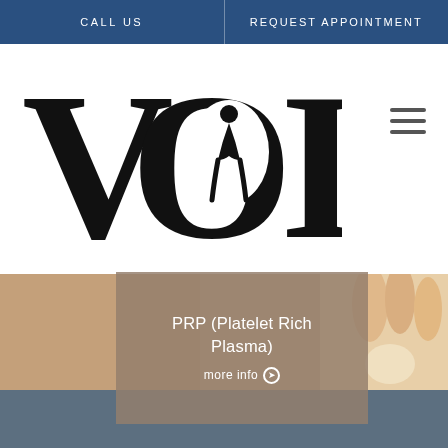CALL US | REQUEST APPOINTMENT
[Figure (logo): VOI orthopedics logo — large black letters V, O (with human figure silhouette inside), I]
[Figure (photo): Close-up of hands holding a hip joint anatomical model]
PRP (Platelet Rich Plasma)
more info ❯